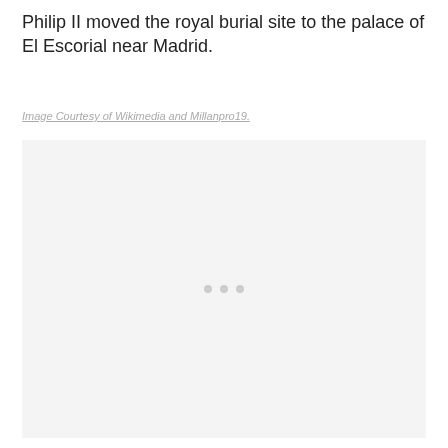Philip II moved the royal burial site to the palace of El Escorial near Madrid.
Image Courtesy of Wikimedia and Millanpro19.
[Figure (photo): A large light gray placeholder image box with three small gray dots centered near the middle-lower area, representing an image that has not loaded.]